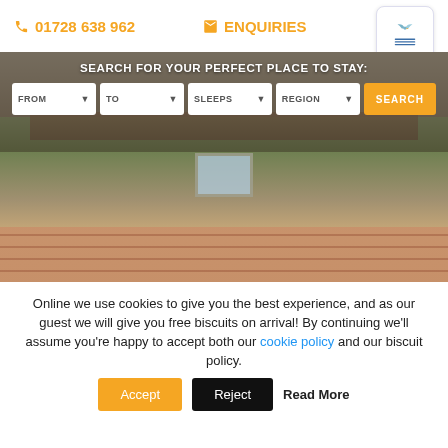01728 638 962  ENQUIRIES
[Figure (screenshot): Website hero section with search bar overlaid on a photo of a brick bungalow with garden. Search fields: FROM, TO, SLEEPS, REGION, and a SEARCH button.]
SEARCH FOR YOUR PERFECT PLACE TO STAY:
Online we use cookies to give you the best experience, and as our guest we will give you free biscuits on arrival! By continuing we'll assume you're happy to accept both our cookie policy and our biscuit policy.